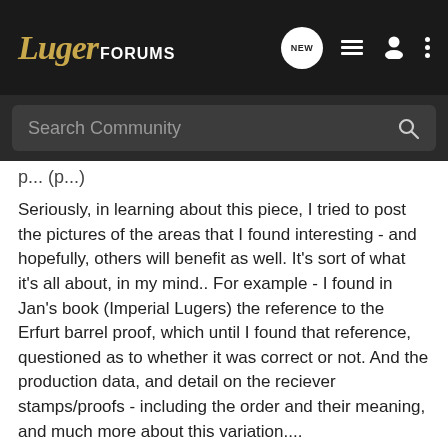LugerFORUMS
p... (p...)
Seriously, in learning about this piece, I tried to post the pictures of the areas that I found interesting - and hopefully, others will benefit as well. It's sort of what it's all about, in my mind.. For example - I found in Jan's book (Imperial Lugers) the reference to the Erfurt barrel proof, which until I found that reference, questioned as to whether it was correct or not. And the production data, and detail on the reciever stamps/proofs - including the order and their meaning, and much more about this variation....
In any event, my thanks are returned to you, Jan. And if I can share back with others what I've learned from your research/publications, this site and it's Members - then that's what collecting is all about to me.